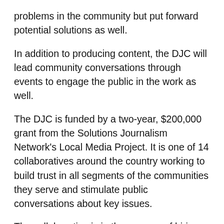problems in the community but put forward potential solutions as well.
In addition to producing content, the DJC will lead community conversations through events to engage the public in the work as well.
The DJC is funded by a two-year, $200,000 grant from the Solutions Journalism Network's Local Media Project. It is one of 14 collaboratives around the country working to build trust in all segments of the communities they serve and stimulate public conversations about key issues.
The collaborative is in the process of hiring a project manager to guide the work. More information about